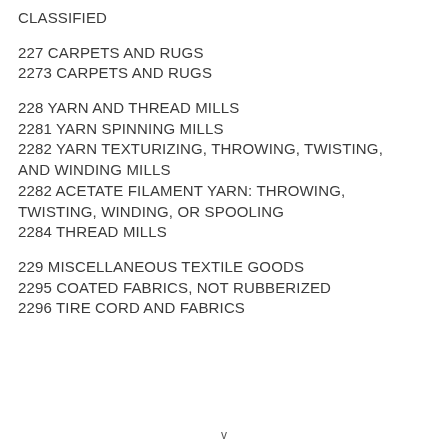CLASSIFIED
227 CARPETS AND RUGS
2273 CARPETS AND RUGS
228 YARN AND THREAD MILLS
2281 YARN SPINNING MILLS
2282 YARN TEXTURIZING, THROWING, TWISTING, AND WINDING MILLS
2282 ACETATE FILAMENT YARN: THROWING, TWISTING, WINDING, OR SPOOLING
2284 THREAD MILLS
229 MISCELLANEOUS TEXTILE GOODS
2295 COATED FABRICS, NOT RUBBERIZED
2296 TIRE CORD AND FABRICS